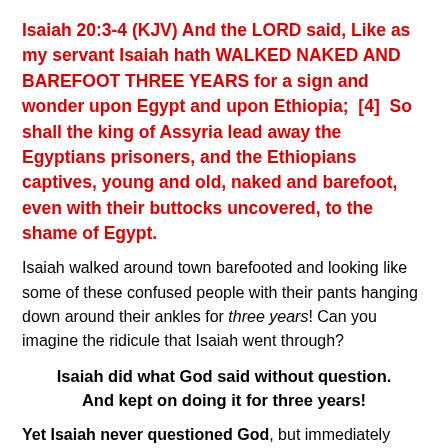Isaiah 20:3-4 (KJV) And the LORD said, Like as my servant Isaiah hath WALKED NAKED AND BAREFOOT THREE YEARS for a sign and wonder upon Egypt and upon Ethiopia;  [4]  So shall the king of Assyria lead away the Egyptians prisoners, and the Ethiopians captives, young and old, naked and barefoot, even with their buttocks uncovered, to the shame of Egypt.
Isaiah walked around town barefooted and looking like some of these confused people with their pants hanging down around their ankles for three years! Can you imagine the ridicule that Isaiah went through?
Isaiah did what God said without question. And kept on doing it for three years!
Yet Isaiah never questioned God, but immediately